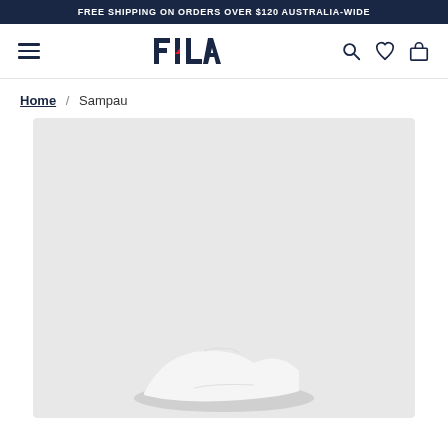FREE SHIPPING ON ORDERS OVER $120 AUSTRALIA-WIDE
[Figure (logo): FILA logo in navy and red, hamburger menu icon, search icon, wishlist heart icon, shopping bag icon in navigation bar]
Home / Sampau
[Figure (photo): Product image area showing a light grey background with the top portion of a white Fila Sampau sneaker visible at the bottom of the frame]